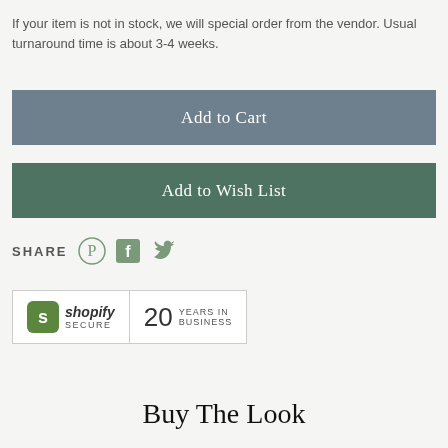If your item is not in stock, we will special order from the vendor. Usual turnaround time is about 3-4 weeks.
[Figure (other): Add to Cart button — dark blue-grey rectangular button with white text 'Add to Cart']
[Figure (other): Add to Wish List button — dark green rectangular button with white text 'Add to Wish List']
SHARE
[Figure (other): Social share icons: Pinterest, Facebook, Twitter]
[Figure (other): Trust badges: Shopify Secure logo and '20 YEARS IN BUSINESS' badge]
Buy The Look